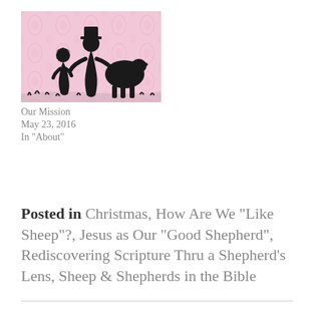[Figure (illustration): Silhouette illustration on a pink floral background showing two child figures (one smaller, one taller with a hat) and a sheep/dog, rendered in black against a light pink damask pattern]
Our Mission
May 23, 2016
In "About"
Posted in Christmas, How Are We "Like Sheep"?, Jesus as Our "Good Shepherd", Rediscovering Scripture Thru a Shepherd's Lens, Sheep & Shepherds in the Bible